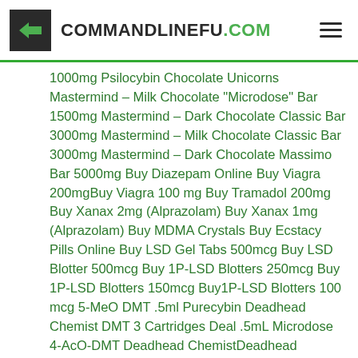COMMANDLINEFU.COM
1000mg Psilocybin Chocolate Unicorns Mastermind – Milk Chocolate "Microdose" Bar 1500mg Mastermind – Dark Chocolate Classic Bar 3000mg Mastermind – Milk Chocolate Classic Bar 3000mg Mastermind – Dark Chocolate Massimo Bar 5000mg Buy Diazepam Online Buy Viagra 200mgBuy Viagra 100 mg Buy Tramadol 200mg Buy Xanax 2mg (Alprazolam) Buy Xanax 1mg (Alprazolam) Buy MDMA Crystals Buy Ecstacy Pills Online Buy LSD Gel Tabs 500mcg Buy LSD Blotter 500mcg Buy 1P-LSD Blotters 250mcg Buy  1P-LSD Blotters 150mcg Buy1P-LSD Blotters 100 mcg 5-MeO DMT .5ml Purecybin Deadhead Chemist DMT 3 Cartridges Deal .5mL Microdose 4-AcO-DMT Deadhead ChemistDeadhead Chemist DMT (Cartridge) .5mL Deadhead Chemist DMT (Cartridge) 1mL DMT (Cartridge & Battery) 1mL Deadhead Chemist Magic Mushroom Grow